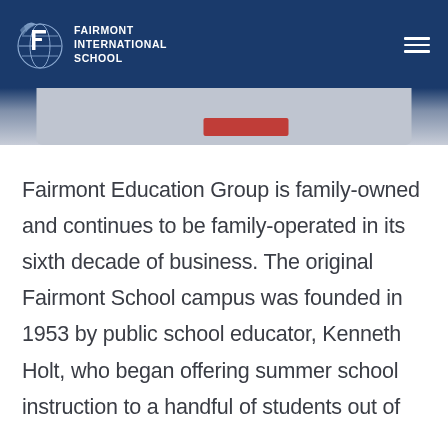FAIRMONT INTERNATIONAL SCHOOL
[Figure (screenshot): Partial image strip showing the top of a photo below the navigation header, with a red accent element visible]
Fairmont Education Group is family-owned and continues to be family-operated in its sixth decade of business. The original Fairmont School campus was founded in 1953 by public school educator, Kenneth Holt, who began offering summer school instruction to a handful of students out of